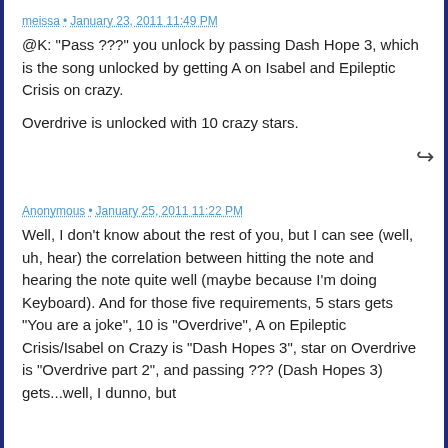meissa • January 23, 2011 11:49 PM
@K: "Pass ???" you unlock by passing Dash Hope 3, which is the song unlocked by getting A on Isabel and Epileptic Crisis on crazy.

Overdrive is unlocked with 10 crazy stars.
Anonymous • January 25, 2011 11:22 PM
Well, I don't know about the rest of you, but I can see (well, uh, hear) the correlation between hitting the note and hearing the note quite well (maybe because I'm doing Keyboard). And for those five requirements, 5 stars gets "You are a joke", 10 is "Overdrive", A on Epileptic Crisis/Isabel on Crazy is "Dash Hopes 3", star on Overdrive is "Overdrive part 2", and passing ??? (Dash Hopes 3) gets...well, I dunno, but